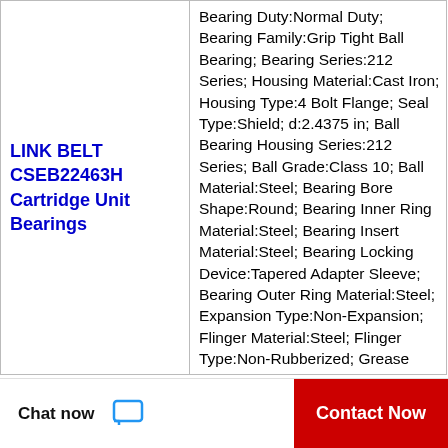LINK BELT CSEB22463H Cartridge Unit Bearings
Bearing Duty:Normal Duty; Bearing Family:Grip Tight Ball Bearing; Bearing Series:212 Series; Housing Material:Cast Iron; Housing Type:4 Bolt Flange; Seal Type:Shield; d:2.4375 in; Ball Bearing Housing Series:212 Series; Ball Grade:Class 10; Ball Material:Steel; Bearing Bore Shape:Round; Bearing Inner Ring Material:Steel; Bearing Insert Material:Steel; Bearing Locking Device:Tapered Adapter Sleeve; Bearing Outer Ring Material:Steel; Expansion Type:Non-Expansion; Flinger Material:Steel; Flinger Type:Non-Rubberized; Grease Type:Unirex N2; Manufacturing Plant Location:Crossville, TN - DC; Max Bearing Speed:6000 rpm; Retainer...
[Figure (other): WhatsApp Online chat bubble icon overlay]
Chat now   Contact Now